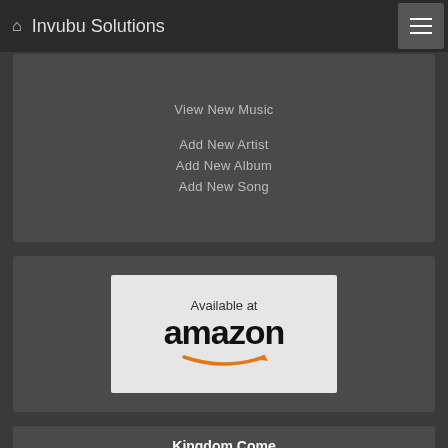Invubu Solutions
View New Music
Add New Artist
Add New Album
Add New Song
[Figure (logo): Available at amazon logo with orange smile arrow]
Kingdom Come
by Rebecca St. James
[Figure (photo): Kingdom Come album cover by Rebecca St. James]